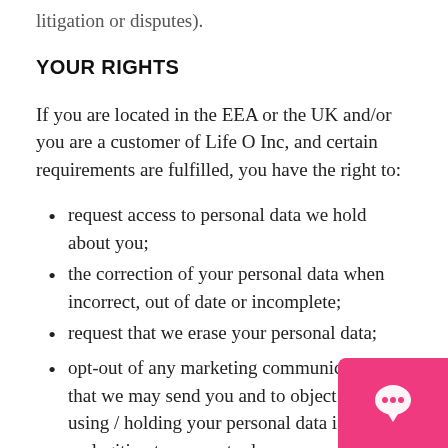litigation or disputes).
YOUR RIGHTS
If you are located in the EEA or the UK and/or you are a customer of Life O Inc, and certain requirements are fulfilled, you have the right to:
request access to personal data we hold about you;
the correction of your personal data when incorrect, out of date or incomplete;
request that we erase your personal data;
opt-out of any marketing communications that we may send you and to object to us using / holding your personal data if we have no legitimate reason to do so;
request that we restrict the processing of your personal data – i.e., we would need to secure and retain the data for your benefit